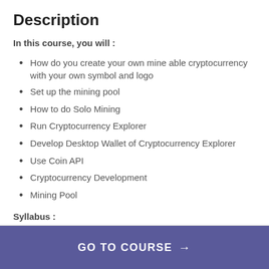Description
In this course, you will :
How do you create your own mine able cryptocurrency with your own symbol and logo
Set up the mining pool
How to do Solo Mining
Run Cryptocurrency Explorer
Develop Desktop Wallet of Cryptocurrency Explorer
Use Coin API
Cryptocurrency Development
Mining Pool
Syllabus :
GO TO COURSE →